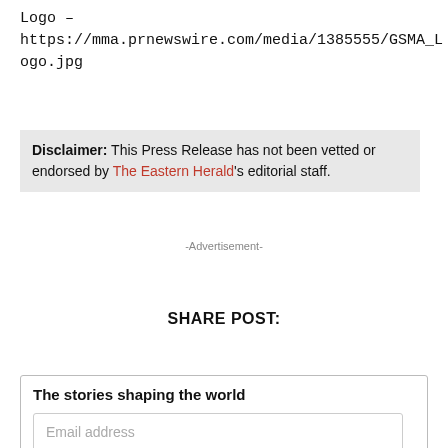Logo – https://mma.prnewswire.com/media/1385555/GSMA_Logo.jpg
Disclaimer: This Press Release has not been vetted or endorsed by The Eastern Herald's editorial staff.
-Advertisement-
SHARE POST:
The stories shaping the world
Email address